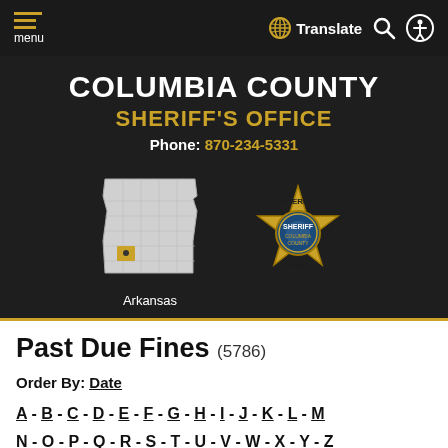menu | Translate
[Figure (logo): Columbia County Sheriff's Office header with Arkansas state map showing Columbia County highlighted, and Sheriff's badge logo]
Past Due Fines (5786)
Order By: Date
A - B - C - D - E - F - G - H - I - J - K - L - M
N - O - P - Q - R - S - T - U - V - W - X - Y - Z
Using, Ashlee Nicole